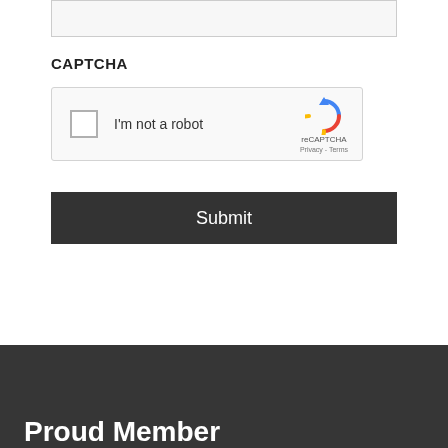[Figure (screenshot): A light gray input/textarea field at the top of the page]
CAPTCHA
[Figure (screenshot): reCAPTCHA widget showing checkbox, 'I'm not a robot' text, and the reCAPTCHA logo with Privacy and Terms links]
[Figure (screenshot): Dark gray Submit button]
Proud Member